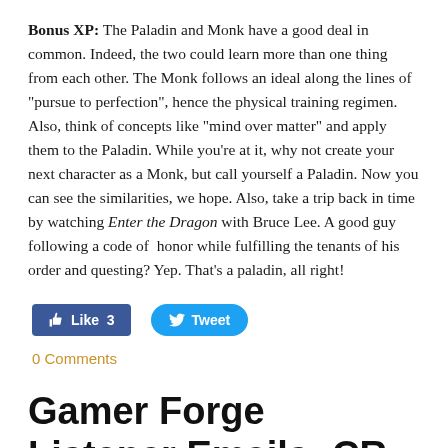Bonus XP: The Paladin and Monk have a good deal in common. Indeed, the two could learn more than one thing from each other. The Monk follows an ideal along the lines of "pursue to perfection", hence the physical training regimen. Also, think of concepts like "mind over matter" and apply them to the Paladin. While you're at it, why not create your next character as a Monk, but call yourself a Paladin. Now you can see the similarities, we hope. Also, take a trip back in time by watching Enter the Dragon with Bruce Lee. A good guy following a code of honor while fulfilling the tenants of his order and questing? Yep. That's a paladin, all right!
[Figure (other): Facebook Like button showing 'Like 3' and Twitter Tweet button]
0 Comments
Gamer Forge Listener Emails: CR, Paladins, & Battle Ragers